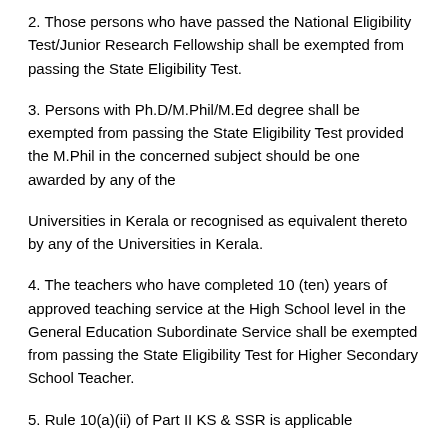2. Those persons who have passed the National Eligibility Test/Junior Research Fellowship shall be exempted from passing the State Eligibility Test.
3. Persons with Ph.D/M.Phil/M.Ed degree shall be exempted from passing the State Eligibility Test provided the M.Phil in the concerned subject should be one awarded by any of the
Universities in Kerala or recognised as equivalent thereto by any of the Universities in Kerala.
4. The teachers who have completed 10 (ten) years of approved teaching service at the High School level in the General Education Subordinate Service shall be exempted from passing the State Eligibility Test for Higher Secondary School Teacher.
5. Rule 10(a)(ii) of Part II KS & SSR is applicable